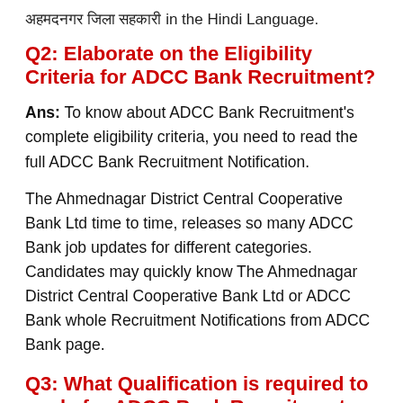अहमदनगर जिला सहकारी in the Hindi Language.
Q2: Elaborate on the Eligibility Criteria for ADCC Bank Recruitment?
Ans: To know about ADCC Bank Recruitment's complete eligibility criteria, you need to read the full ADCC Bank Recruitment Notification.
The Ahmednagar District Central Cooperative Bank Ltd time to time, releases so many ADCC Bank job updates for different categories. Candidates may quickly know The Ahmednagar District Central Cooperative Bank Ltd or ADCC Bank whole Recruitment Notifications from ADCC Bank page.
Q3: What Qualification is required to apply for ADCC Bank Recruitment